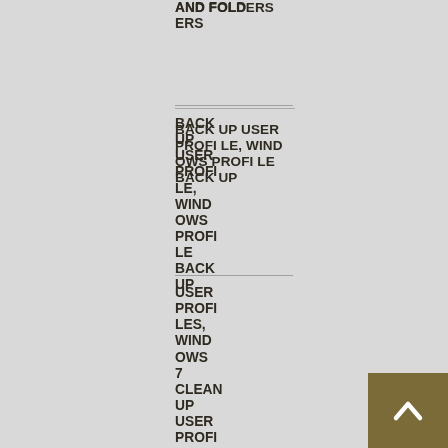AND FOLDERS
BACKUP USER PROFILE, WINDOWS PROFILE BACKUP
USER PROFILES, WINDOWS 7 CLEANUP USER PROFILE
[Figure (other): Olive/dark yellow back-to-top button with upward chevron arrow in white, positioned bottom-right]